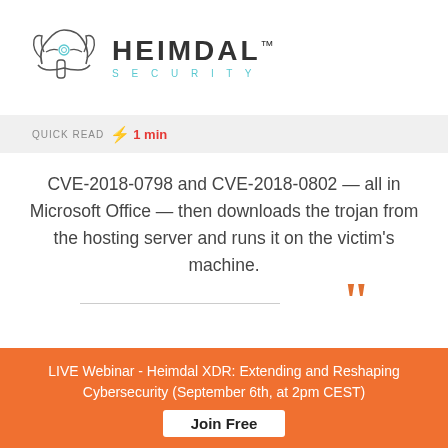[Figure (logo): Heimdal Security logo with Viking helmet illustration and HEIMDAL SECURITY wordmark]
QUICK READ ⚡ 1 min
CVE-2018-0798 and CVE-2018-0802 — all in Microsoft Office — then downloads the trojan from the hosting server and runs it on the victim's machine.
Source
LIVE Webinar - Heimdal XDR: Extending and Reshaping Cybersecurity (September 6th, at 2pm CEST)
Join Free